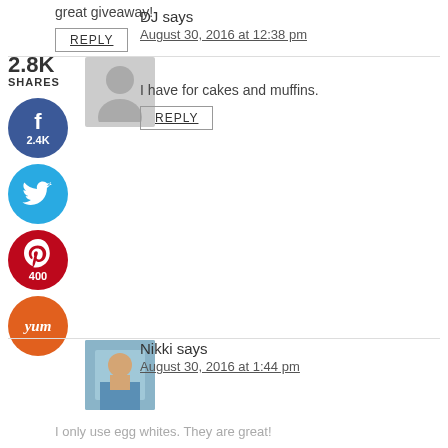great giveaway!
REPLY
2.8K SHARES
DJ says
August 30, 2016 at 12:38 pm
I have for cakes and muffins.
REPLY
Nikki says
August 30, 2016 at 1:44 pm
I only use egg whites. They are great!